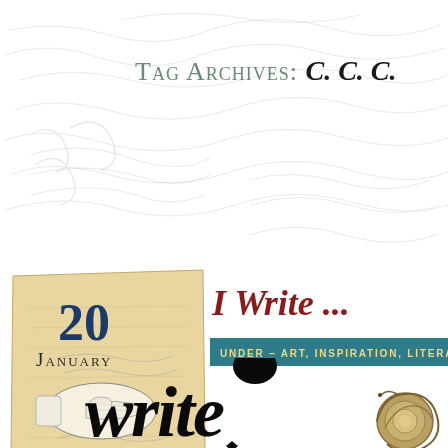Tag Archives: C. C. C.
[Figure (illustration): Aged torn paper badge with date '20 January', pointing hand illustration, '3 Comments' text in dark red, on yellowed paper background]
I Write ...
UNDER – ART, INSPIRATION, LITERATURE, MY
[Figure (illustration): Large black calligraphic 'write' text with decorative ink pen nib/inkblot above and ornamental shell/snail decoration at lower right]